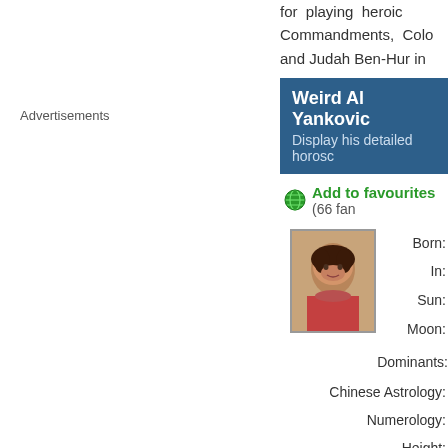for playing heroic Commandments, Colo and Judah Ben-Hur in
Advertisements
Weird Al Yankovic
Display his detailed horosc
Add to favourites (66 fan
[Figure (photo): Portrait photo of a young person with dark hair]
Born:
In:
Sun:
Moon:
Dominants:
Chinese Astrology:
Numerology:
Height:
Pageviews:
Biography of Weird Al Yankov
Alfred Matthew "Weir